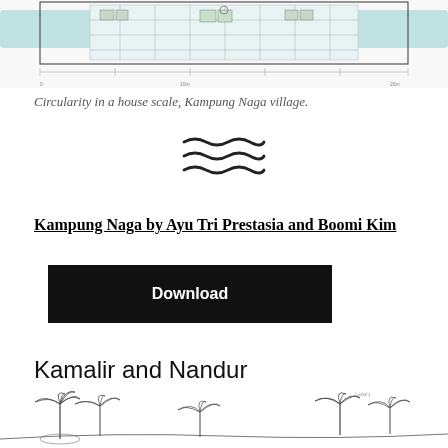[Figure (illustration): Architectural drawing/plan showing circularity in a house scale at Kampung Naga village, with teal/light blue water features and linear building layouts.]
Circularity in a house scale, Kampung Naga village.
[Figure (other): Three wavy lines symbol (decorative divider)]
Kampung Naga by Ayu Tri Prestasia and Boomi Kim
Download
Kamalir and Nandur
[Figure (illustration): Pencil sketch/illustration of a landscape with palm trees and tropical vegetation at the bottom of the page.]